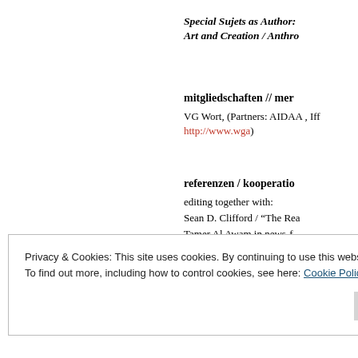Special Sujets as Author: Art and Creation / Anthro
mitgliedschaften // mer
VG Wort, (Partners: AIDAA , Iff http://www.wga)
referenzen / kooperatio
editing together with:
Sean D. Clifford / “The Rea
Tamer Al Awam in news-f
Privacy & Cookies: This site uses cookies. By continuing to use this website, you agree to their use.
To find out more, including how to control cookies, see here: Cookie Policy